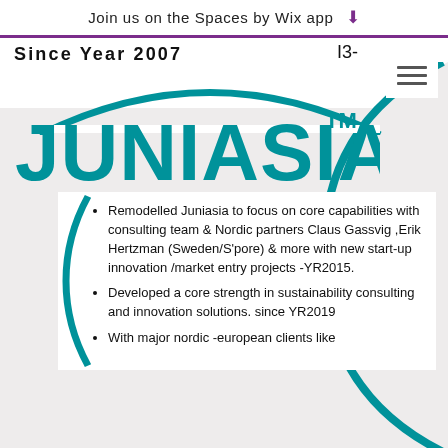Join us on the Spaces by Wix app
Since Year 2007
I3-
[Figure (logo): JUNIASIA trademark logo in teal/cyan color with TM superscript]
Remodelled Juniasia to focus on core capabilities with consulting team & Nordic partners Claus Gassvig ,Erik Hertzman (Sweden/S'pore) & more with new start-up innovation /market entry projects -YR2015.
Developed a core strength in sustainability consulting and innovation solutions. since YR2019
With major nordic -european clients like